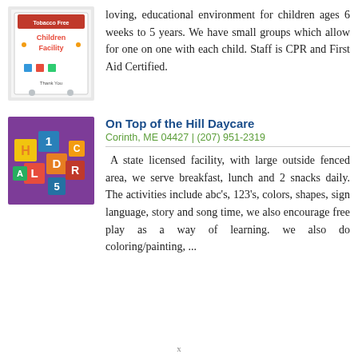[Figure (photo): Sign for a tobacco-free children's facility]
loving, educational environment for children ages 6 weeks to 5 years. We have small groups which allow for one on one with each child. Staff is CPR and First Aid Certified.
[Figure (photo): Colorful alphabet building blocks arranged on a purple surface]
On Top of the Hill Daycare
Corinth, ME 04427 | (207) 951-2319
A state licensed facility, with large outside fenced area, we serve breakfast, lunch and 2 snacks daily. The activities include abc's, 123's, colors, shapes, sign language, story and song time, we also encourage free play as a way of learning. we also do coloring/painting, ...